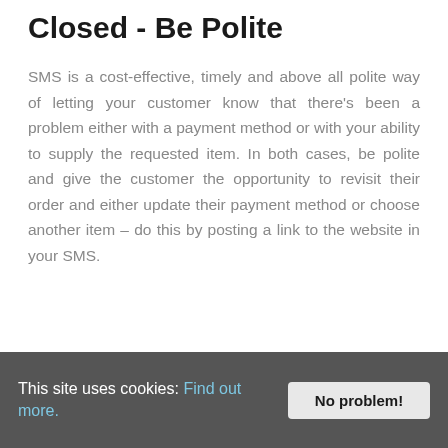Closed - Be Polite
SMS is a cost-effective, timely and above all polite way of letting your customer know that there's been a problem either with a payment method or with your ability to supply the requested item. In both cases, be polite and give the customer the opportunity to revisit their order and either update their payment method or choose another item – do this by posting a link to the website in your SMS.
This site uses cookies: Find out more. No problem!